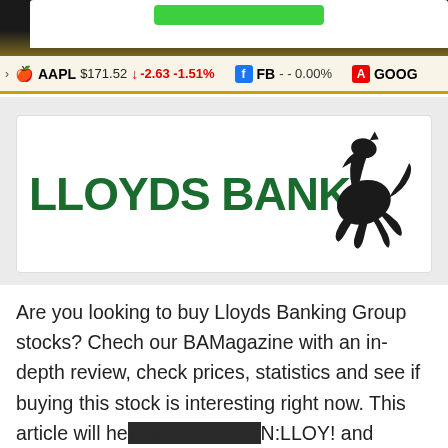AAPL $171.52 ▼ -2.63 -1.51%   FB - - 0.00%   GOOG
[Figure (logo): Lloyds Bank logo with black horse rearing up on right side and green bold text 'LLOYDS BANK' on left]
Are you looking to buy Lloyds Banking Group stocks? Chech our BAMagazine with an in-depth review, check prices, statistics and see if buying this stock is interesting right now. This article will he [N:LLOY! and analyze the company to [ck might be an interesting option